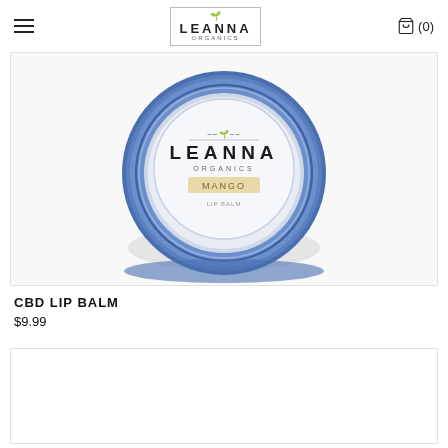≡  LEANNA ORGANICS  🛒 (0)
[Figure (photo): Top-down view of a round tin of Leanna Organics CBD Lip Balm in Mango flavor, with a blue metallic rim and a white label showing the Leanna Organics logo and 'MANGO' text on a tan banner.]
CBD LIP BALM
$9.99